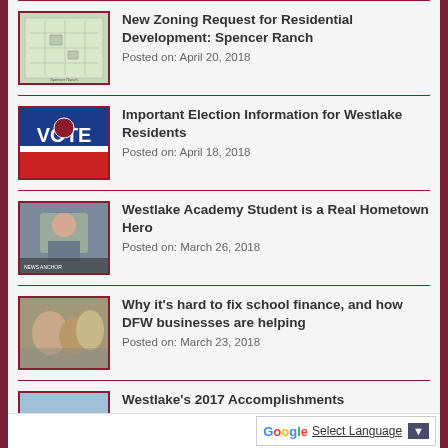New Zoning Request for Residential Development: Spencer Ranch
Posted on: April 20, 2018
Important Election Information for Westlake Residents
Posted on: April 18, 2018
Westlake Academy Student is a Real Hometown Hero
Posted on: March 26, 2018
Why it's hard to fix school finance, and how DFW businesses are helping
Posted on: March 23, 2018
Westlake's 2017 Accomplishments
Posted on: March 21, 2018
Arming teachers on...
Select Language